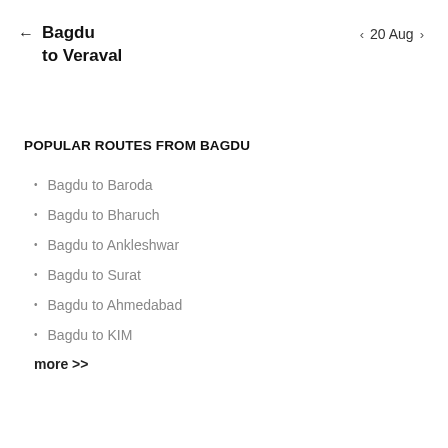← Bagdu to Veraval   ‹ 20 Aug ›
POPULAR ROUTES FROM BAGDU
Bagdu to Baroda
Bagdu to Bharuch
Bagdu to Ankleshwar
Bagdu to Surat
Bagdu to Ahmedabad
Bagdu to KIM
more >>